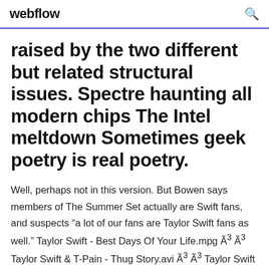webflow
raised by the two different but related structural issues. Spectre haunting all modern chips The Intel meltdown Sometimes geek poetry is real poetry.
Well, perhaps not in this version. But Bowen says members of The Summer Set actually are Swift fans, and suspects “a lot of our fans are Taylor Swift fans as well.” Taylor Swift - Best Days Of Your Life.mpg Ã³ Ã³ Taylor Swift & T-Pain - Thug Story.avi Ã³ Ã³ Taylor Swift - Beautiful Eyes.avi Ã³ Ã³ Taylor Swift - Change.avi Ã³ Ã³ Taylor Swift - Crazier.avi Ã³ Ã³ Taylor Swift - Fearless.avi Ã³ Ã³ Taylor Swift - Artikel.avi